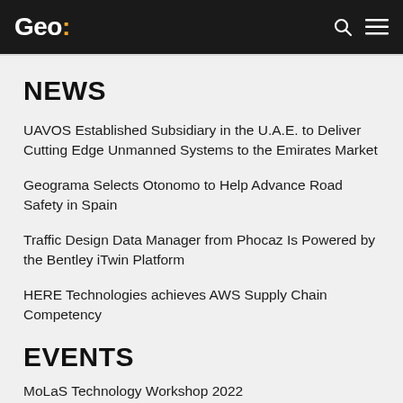Geo:
NEWS
UAVOS Established Subsidiary in the U.A.E. to Deliver Cutting Edge Unmanned Systems to the Emirates Market
Geograma Selects Otonomo to Help Advance Road Safety in Spain
Traffic Design Data Manager from Phocaz Is Powered by the Bentley iTwin Platform
HERE Technologies achieves AWS Supply Chain Competency
EVENTS
MoLaS Technology Workshop 2022